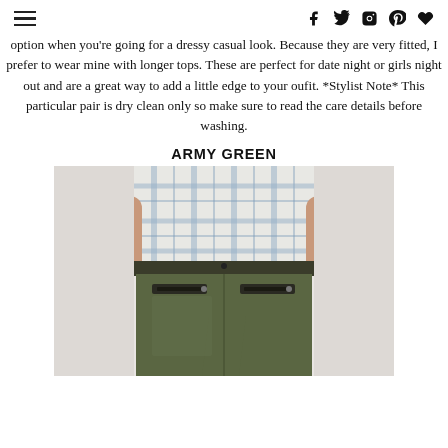≡  f  🐦  📷  p  ♥
option when you're going for a dressy casual look. Because they are very fitted, I prefer to wear mine with longer tops. These are perfect for date night or girls night out and are a great way to add a little edge to your oufit. *Stylist Note* This particular pair is dry clean only so make sure to read the care details before washing.
ARMY GREEN
[Figure (photo): Woman wearing army green skinny pants with zipper pocket details and a plaid shirt, cropped to show torso and legs]